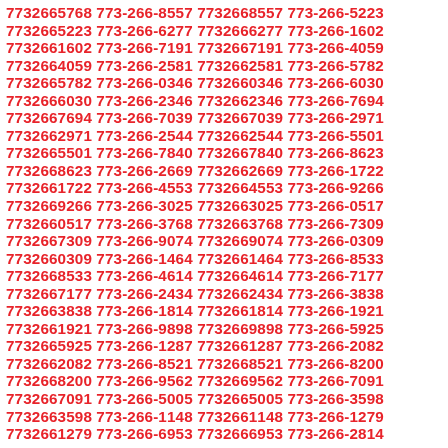7732665768 773-266-8557 7732668557 773-266-5223 7732665223 773-266-6277 7732666277 773-266-1602 7732661602 773-266-7191 7732667191 773-266-4059 7732664059 773-266-2581 7732662581 773-266-5782 7732665782 773-266-0346 7732660346 773-266-6030 7732666030 773-266-2346 7732662346 773-266-7694 7732667694 773-266-7039 7732667039 773-266-2971 7732662971 773-266-2544 7732662544 773-266-5501 7732665501 773-266-7840 7732667840 773-266-8623 7732668623 773-266-2669 7732662669 773-266-1722 7732661722 773-266-4553 7732664553 773-266-9266 7732669266 773-266-3025 7732663025 773-266-0517 7732660517 773-266-3768 7732663768 773-266-7309 7732667309 773-266-9074 7732669074 773-266-0309 7732660309 773-266-1464 7732661464 773-266-8533 7732668533 773-266-4614 7732664614 773-266-7177 7732667177 773-266-2434 7732662434 773-266-3838 7732663838 773-266-1814 7732661814 773-266-1921 7732661921 773-266-9898 7732669898 773-266-5925 7732665925 773-266-1287 7732661287 773-266-2082 7732662082 773-266-8521 7732668521 773-266-8200 7732668200 773-266-9562 7732669562 773-266-7091 7732667091 773-266-5005 7732665005 773-266-3598 7732663598 773-266-1148 7732661148 773-266-1279 7732661279 773-266-6953 7732666953 773-266-2814